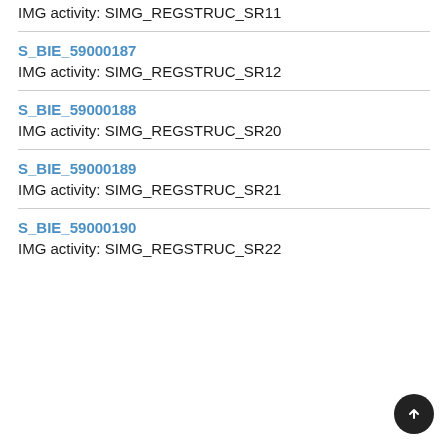IMG activity: SIMG_REGSTRUC_SR11
S_BIE_59000187
IMG activity: SIMG_REGSTRUC_SR12
S_BIE_59000188
IMG activity: SIMG_REGSTRUC_SR20
S_BIE_59000189
IMG activity: SIMG_REGSTRUC_SR21
S_BIE_59000190
IMG activity: SIMG_REGSTRUC_SR22